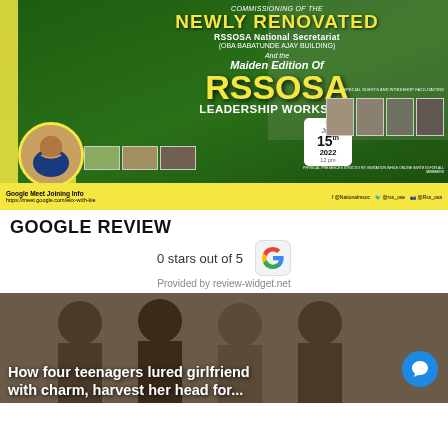[Figure (infographic): RSSOSA event banner for commissioning of newly renovated RSSOSA National Secretariat (Oba Babatunde Ajay Building) and Maiden Edition of RSSOSA Leadership Workshop. Date: July 15th 2022, 12pm. Google Meet link: https://meet.google.com/ekx-wdh-kie. Features portrait of Arblaseba Ennambedng (National President Rssosa), guest speaker photos, building thumbnails, social media handles @Nationalrssoc @rss_ose @Rss_osa]
GOOGLE REVIEW
0 stars out of 5
Provided by review-widget.net
[Figure (photo): Photo of four young men, with headline overlay: 'How four teenagers lured girlfriend with charm, harvest her head for...' A blue chat bubble icon appears bottom right.]